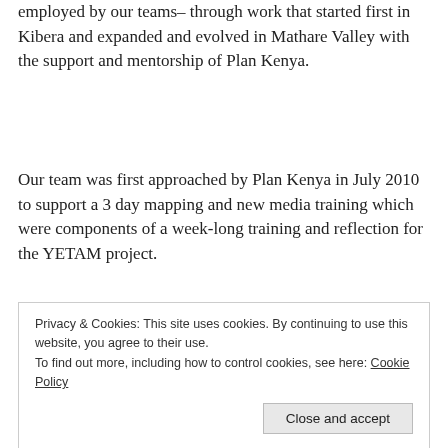employed by our teams– through work that started first in Kibera and expanded and evolved in Mathare Valley with the support and mentorship of Plan Kenya.
Our team was first approached by Plan Kenya in July 2010 to support a 3 day mapping and new media training which were components of a week-long training and reflection for the YETAM project.
Privacy & Cookies: This site uses cookies. By continuing to use this website, you agree to their use.
To find out more, including how to control cookies, see here: Cookie Policy
community mapping. The purpose of the mapping is to